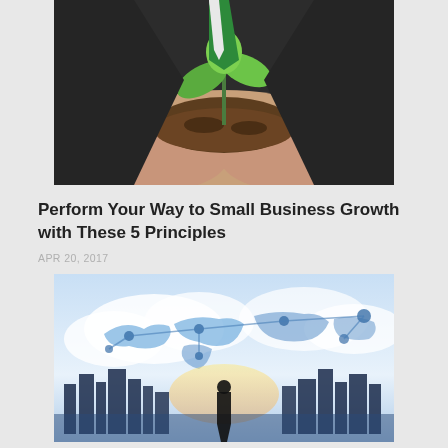[Figure (photo): Businessman in dark suit holding a small green plant seedling growing from soil in cupped hands, close-up shot.]
Perform Your Way to Small Business Growth with These 5 Principles
APR 20, 2017
[Figure (photo): Person standing in front of a glowing city skyline with a world map network overlay showing global connectivity dots and lines in blue tones.]
3 Business Types, 6 Growth Strategies, and